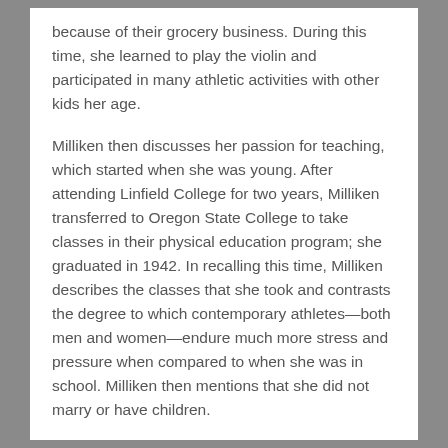because of their grocery business. During this time, she learned to play the violin and participated in many athletic activities with other kids her age.
Milliken then discusses her passion for teaching, which started when she was young. After attending Linfield College for two years, Milliken transferred to Oregon State College to take classes in their physical education program; she graduated in 1942. In recalling this time, Milliken describes the classes that she took and contrasts the degree to which contemporary athletes—both men and women—endure much more stress and pressure when compared to when she was in school. Milliken then mentions that she did not marry or have children.